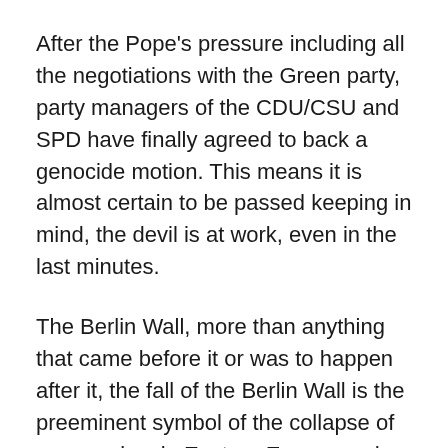After the Pope's pressure including all the negotiations with the Green party, party managers of the CDU/CSU and SPD have finally agreed to back a genocide motion. This means it is almost certain to be passed keeping in mind, the devil is at work, even in the last minutes.
The Berlin Wall, more than anything that came before it or was to happen after it, the fall of the Berlin Wall is the preeminent symbol of the collapse of communism in Eastern Europe and the end of the Cold War.
No serious analyst can downplay Pope John Paul II's contribution to communism's collapse. The devil recruited a fanatic Muslim Turk, Mehmet Ali